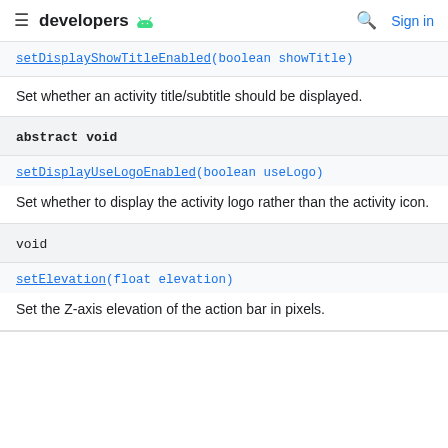developers
setDisplayShowTitleEnabled(boolean showTitle)
Set whether an activity title/subtitle should be displayed.
abstract void
setDisplayUseLogoEnabled(boolean useLogo)
Set whether to display the activity logo rather than the activity icon.
void
setElevation(float elevation)
Set the Z-axis elevation of the action bar in pixels.